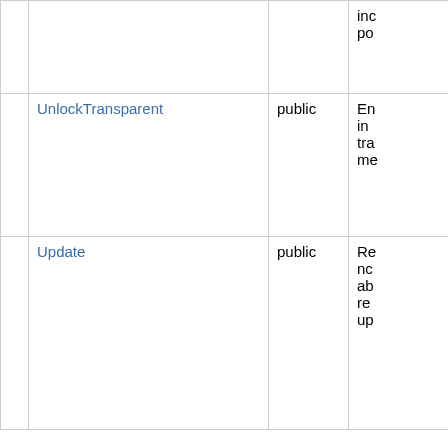|  | Name | Visibility | Description |
| --- | --- | --- | --- |
|  |  |  | inc
po |
|  | UnlockTransparent | public | En
in
tra
me |
|  | Update | public | Re
nc
ab
re
up |
Properties
|  | Name | Visibility | Description |
| --- | --- | --- | --- |
|  | CanvasBrush | public | Brush of the Canvas object. |